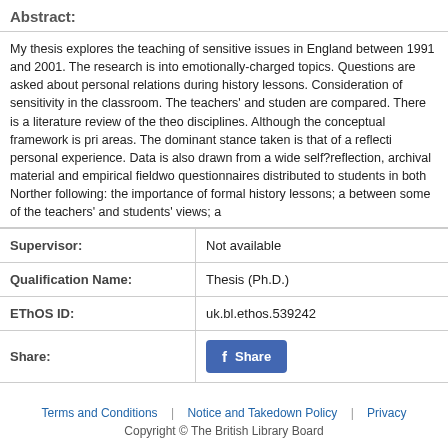Abstract:
My thesis explores the teaching of sensitive issues in England between 1991 and 2001. The research is into emotionally-charged topics. Questions are asked about personal relations during history lessons. Consideration of sensitivity in the classroom. The teachers' and students' views are compared. There is a literature review of the theory across disciplines. Although the conceptual framework is primary in these areas. The dominant stance taken is that of a reflective practitioner personal experience. Data is also drawn from a wide range of self?reflection, archival material and empirical fieldwork including questionnaires distributed to students in both Northern Ireland and following: the importance of formal history lessons; a comparison between some of the teachers' and students' views; a
|  |  |
| --- | --- |
| Supervisor: | Not available |
| Qualification Name: | Thesis (Ph.D.) |
| EThOS ID: | uk.bl.ethos.539242 |
| Share: |  |
Terms and Conditions | Notice and Takedown Policy | Privacy
Copyright © The British Library Board